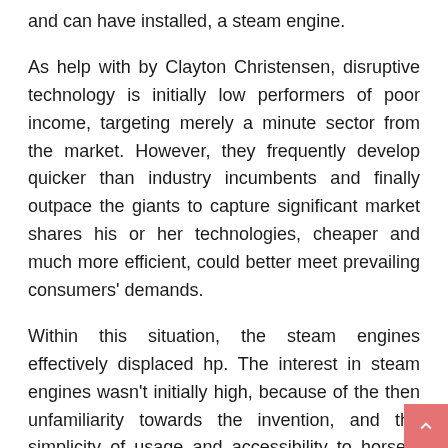and can have installed, a steam engine.
As help with by Clayton Christensen, disruptive technology is initially low performers of poor income, targeting merely a minute sector from the market. However, they frequently develop quicker than industry incumbents and finally outpace the giants to capture significant market shares his or her technologies, cheaper and much more efficient, could better meet prevailing consumers' demands.
Within this situation, the steam engines effectively displaced hp. The interest in steam engines wasn't initially high, because of the then unfamiliarity towards the invention, and the simplicity of usage and accessibility to horses. However, when economic activities intensified, and societies prospered, a specialized niche for steam engines